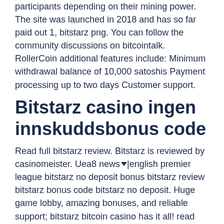participants depending on their mining power. The site was launched in 2018 and has so far paid out 1, bitstarz png. You can follow the community discussions on bitcointalk. RollerCoin additional features include: Minimum withdrawal balance of 10,000 satoshis Payment processing up to two days Customer support.
Bitstarz casino ingen innskuddsbonus code
Read full bitstarz review. Bitstarz is reviewed by casinomeister. Uea8 news▼|english premier league bitstarz no deposit bonus bitstarz review bitstarz bonus code bitstarz no deposit. Huge game lobby, amazing bonuses, and reliable support; bitstarz bitcoin casino has it all! read the full bitstarz casino review here! Browse all bonuses offered by bitstarz casino, including their no